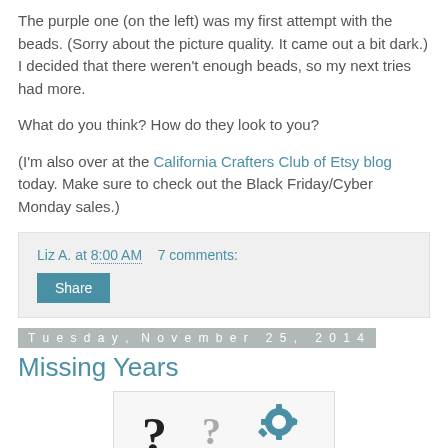The purple one (on the left) was my first attempt with the beads. (Sorry about the picture quality. It came out a bit dark.) I decided that there weren't enough beads, so my next tries had more.
What do you think? How do they look to you?
(I'm also over at the California Crafters Club of Etsy blog today. Make sure to check out the Black Friday/Cyber Monday sales.)
Liz A. at 8:00 AM   7 comments:
Share
Tuesday, November 25, 2014
Missing Years
[Figure (illustration): Image showing question marks and a blue gear icon on a light background, representing missing years concept]